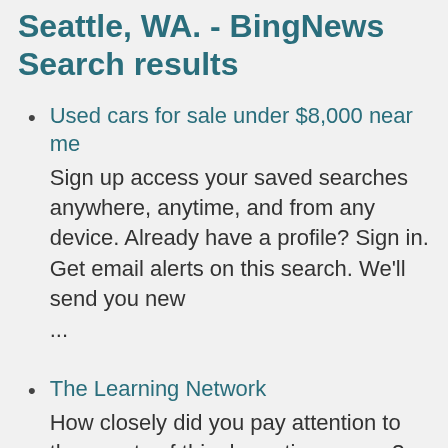... - My Low Price to Seattle, WA. - BingNews Search results
Used cars for sale under $8,000 near me
Sign up access your saved searches anywhere, anytime, and from any device. Already have a profile? Sign in. Get email alerts on this search. We'll send you new
...
The Learning Network
How closely did you pay attention to the events of this dramatic summer? See what you remember by taking our special Summer 2022 News Quiz.